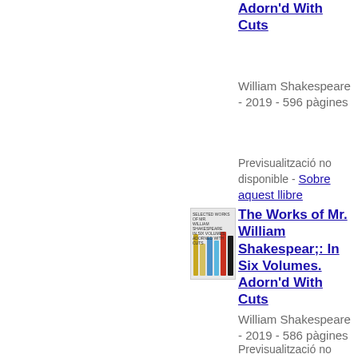The Works of Mr. William Shakespear;: In Six Volumes. Adorn'd With Cuts
William Shakespeare - 2019 - 596 pàgines
Previsualització no disponible - Sobre aquest llibre
[Figure (photo): Book cover showing multiple colored book spines - yellows, blues, reds, black]
The Works of Mr. William Shakespear;: In Six Volumes. Adorn'd With Cuts
William Shakespeare - 2019 - 586 pàgines
Previsualització no disponible - Sobre aquest